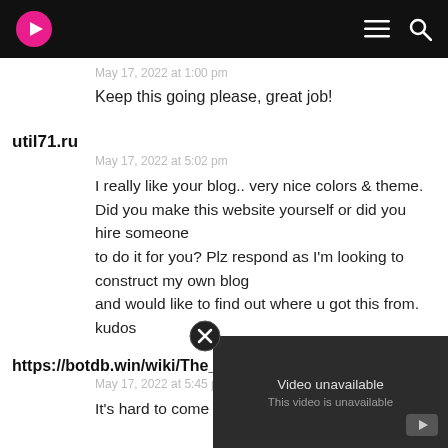Navigation bar with logo, menu icon, search icon
May 17, 2022 at 1:00 pm
Keep this going please, great job!
util71.ru
May 17, 2022 at 5:02 pm
I really like your blog.. very nice colors & theme. Did you make this website yourself or did you hire someone to do it for you? Plz respond as I'm looking to construct my own blog and would like to find out where u got this from. kudos
https://botdb.win/wiki/The_Pri
May 17, 2022 at 5:45 pm
It's hard to come by ex
[Figure (screenshot): Video unavailable overlay with close button, YouTube icon, text 'Video unavailable' and 'This video is unavailable']